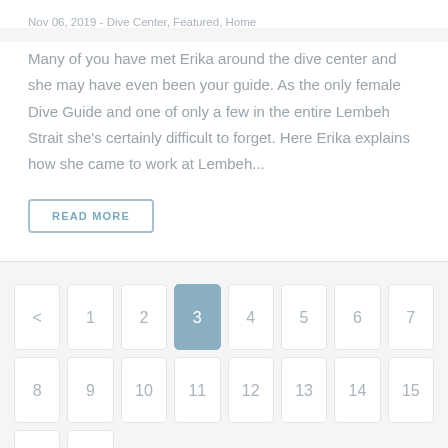Nov 06, 2019 - Dive Center, Featured, Home
Many of you have met Erika around the dive center and she may have even been your guide. As the only female Dive Guide and one of only a few in the entire Lembeh Strait she's certainly difficult to forget. Here Erika explains how she came to work at Lembeh...
READ MORE
< 1 2 3 4 5 6 7 8 9 10 11 12 13 14 15 > >>